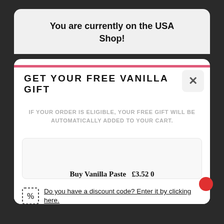You are currently on the USA Shop!
GET YOUR FREE VANILLA GIFT
IF YOUR ORDER IS ELIGIBLE, YOUR FREE GIFT WILL BE AUTOMATICALLY ADDED TO YOUR CART.
Buy Vanilla Paste £3.52 0
Do you have a discount code? Enter it by clicking here.
Subtotal: $0.00
UK/EU
REST OF WORLD